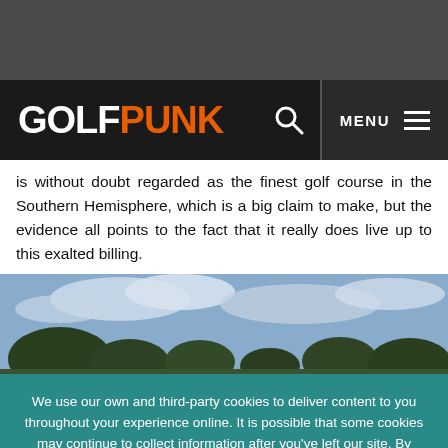GOLFPUNK
is without doubt regarded as the finest golf course in the Southern Hemisphere, which is a big claim to make, but the evidence all points to the fact that it really does live up to this exalted billing.
[Figure (photo): Outdoor photo of a golf course with trees and cloudy sky]
We use our own and third-party cookies to deliver content to you throughout your experience online. It is possible that some cookies may continue to collect information after you've left our site. By using our site, you consent to cookies. Learn more here.
OK, GOT IT!